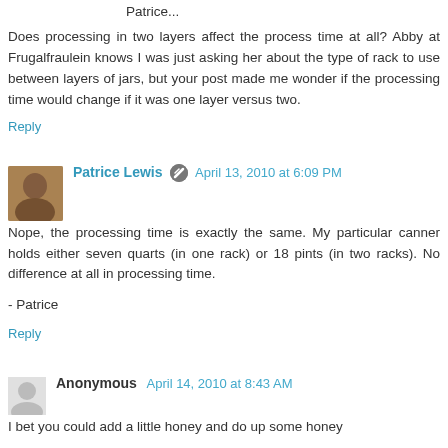Patrice...
Does processing in two layers affect the process time at all? Abby at Frugalfraulein knows I was just asking her about the type of rack to use between layers of jars, but your post made me wonder if the processing time would change if it was one layer versus two.
Reply
Patrice Lewis  April 13, 2010 at 6:09 PM
Nope, the processing time is exactly the same. My particular canner holds either seven quarts (in one rack) or 18 pints (in two racks). No difference at all in processing time.
- Patrice
Reply
Anonymous  April 14, 2010 at 8:43 AM
I bet you could add a little honey and do up some honey